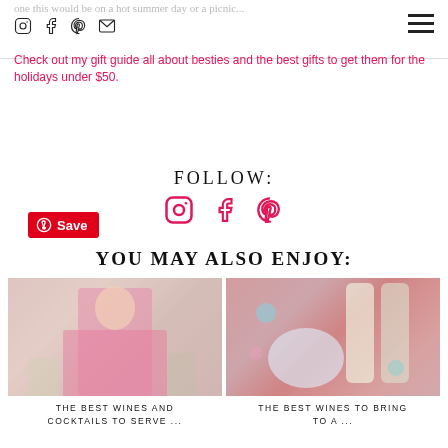one this would be on a hot summer day or a picnic...
Instagram, Facebook, Pinterest, Email icons | Hamburger menu
Check out my gift guide all about besties and the best gifts to get them for the holidays under $50.
[Figure (other): Red Save button with Pinterest icon]
FOLLOW:
[Figure (other): Instagram, Facebook, Pinterest icons in pink]
YOU MAY ALSO ENJOY:
[Figure (photo): Woman in pink top posing with wine bottles]
THE BEST WINES AND COCKTAILS TO SERVE ...
[Figure (photo): Holiday table setting with wine bottles, ornaments and decorative plates]
THE BEST WINES TO BRING TO A ...